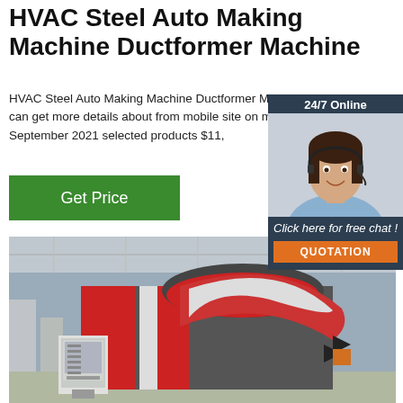HVAC Steel Auto Making Machine Ductformer Machine
HVAC Steel Auto Making Machine Ductformer Machine Line 3, You can get more details about from mobile site on m.alibaba.com September 2021 selected products $11,
[Figure (other): Green 'Get Price' button]
[Figure (other): 24/7 Online chat widget with customer service representative photo, 'Click here for free chat!' text, and orange QUOTATION button]
[Figure (photo): Industrial factory photo showing a large red and grey HVAC ductformer machine with CNC control panel in a warehouse setting]